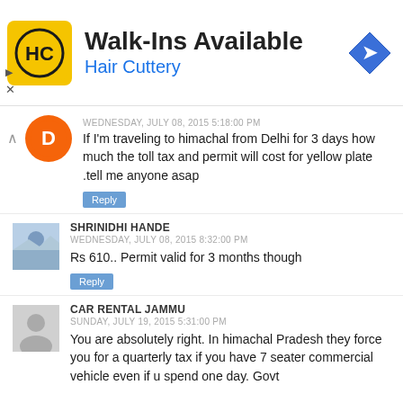[Figure (infographic): Hair Cuttery advertisement banner: yellow square logo with HC letters, text 'Walk-Ins Available' and 'Hair Cuttery', blue diamond arrow icon on right]
WEDNESDAY, JULY 08, 2015 5:18:00 PM
If I'm traveling to himachal from Delhi for 3 days how much the toll tax and permit will cost for yellow plate .tell me anyone asap
Reply
SHRINIDHI HANDE
WEDNESDAY, JULY 08, 2015 8:32:00 PM
Rs 610.. Permit valid for 3 months though
Reply
CAR RENTAL JAMMU
SUNDAY, JULY 19, 2015 5:31:00 PM
You are absolutely right. In himachal Pradesh they force you for a quarterly tax if you have 7 seater commercial vehicle even if u spend one day. Govt